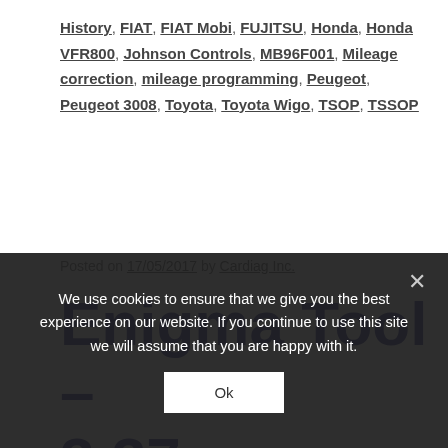History, FIAT, FIAT Mobi, FUJITSU, Honda, Honda VFR800, Johnson Controls, MB96F001, Mileage correction, mileage programming, Peugeot, Peugeot 3008, Toyota, Toyota Wigo, TSOP, TSSOP
Posted on 17/05/2017 by Cardiag Inc.
Enigma Tool – 3.37
We use cookies to ensure that we give you the best experience on our website. If you continue to use this site we will assume that you are happy with it.